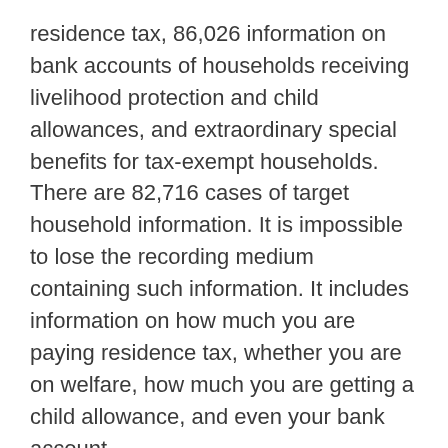residence tax, 86,026 information on bank accounts of households receiving livelihood protection and child allowances, and extraordinary special benefits for tax-exempt households. There are 82,716 cases of target household information. It is impossible to lose the recording medium containing such information. It includes information on how much you are paying residence tax, whether you are on welfare, how much you are getting a child allowance, and even your bank account.
Is this limited to Amagasaki City, or is it possible for any local government? What is the management of personal information in local governments? It is said that the lost USB memory has a password, but there are people who can break through such a password.
There is one more horrifying thing about this issue. The person who has drunk and misplaced the bag with the USB